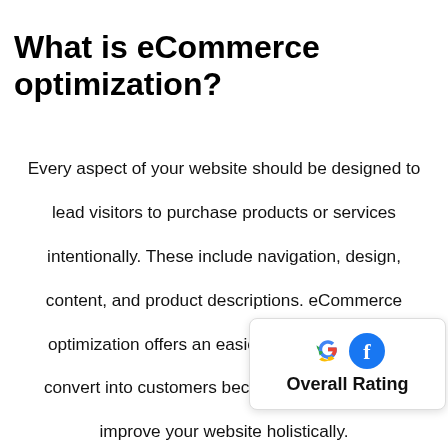What is eCommerce optimization?
Every aspect of your website should be designed to lead visitors to purchase products or services intentionally. These include navigation, design, content, and product descriptions. eCommerce optimization offers an easier way for visitors to convert into customers because it allows you to improve your website holistically. Knowing what needs to change or be added may be challenging because conversion rate optimization is complex and detailed. To know exactly what needs to change, you must carry out a thorough CRO audit. We have vast knowledge and experience to web design from the ten years we've been in business. You can count on our team to improve a customer's experience on your website by improving
[Figure (logo): Google and Facebook combined Overall Rating badge overlay in bottom-right corner]